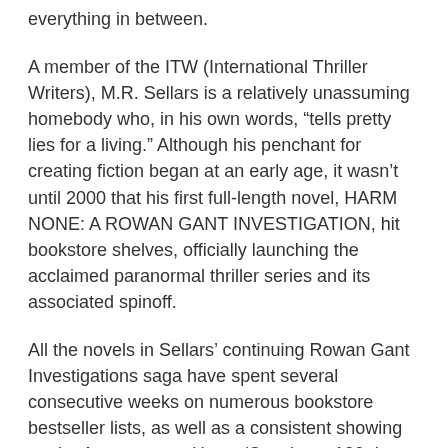everything in between.
A member of the ITW (International Thriller Writers), M.R. Sellars is a relatively unassuming homebody who, in his own words, “tells pretty lies for a living.” Although his penchant for creating fiction began at an early age, it wasn’t until 2000 that his first full-length novel, HARM NONE: A ROWAN GANT INVESTIGATION, hit bookstore shelves, officially launching the acclaimed paranormal thriller series and its associated spinoff.
All the novels in Sellars’ continuing Rowan Gant Investigations saga have spent several consecutive weeks on numerous bookstore bestseller lists, as well as a consistent showing on the Amazon.com Horror/Occult top 100. In 2010 a short e-novella featuring a supporting character from the RGI cast spawned a new series, The Special Agent Constance Mandalay Novels, the first full-length book being IN THE BLEAK MIDWINTER, which hit the streets November 2011. The second, INTO THE LAKE OF FIRE, is slated for release in 2015.